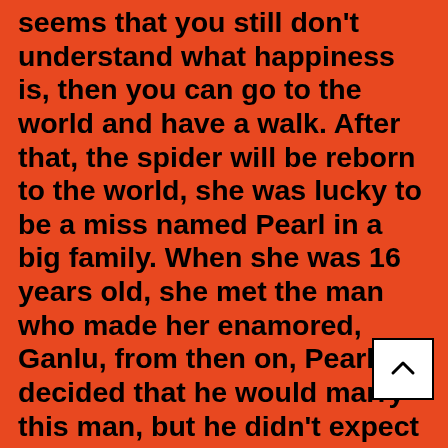seems that you still don't understand what happiness is, then you can go to the world and have a walk. After that, the spider will be reborn to the world, she was lucky to be a miss named Pearl in a big family. When she was 16 years old, she met the man who made her enamored, Ganlu, from then on, Pearl decided that he would marry this man, but he didn't expect Ganlu to be very cold to her all the time. Soon after, Pearl suddenly learned that she was given a marriage, but the other party was the Prince Sesame, while Ganlu was recruited as the horse of Princess Changfeng. Pearl couldn't stand the blow and killed herself. After hearing this, Sesame grass held her